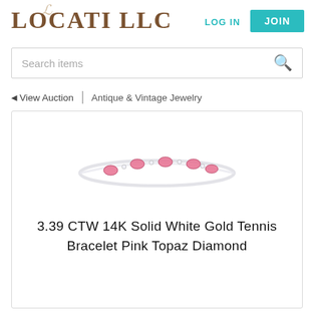[Figure (logo): Locati LLC logo with decorative script L and serif bold text]
LOG IN
JOIN
Search items
◄ View Auction | Antique & Vintage Jewelry
[Figure (photo): Tennis bracelet with pink topaz and diamond stones on white background]
3.39 CTW 14K Solid White Gold Tennis Bracelet Pink Topaz Diamond